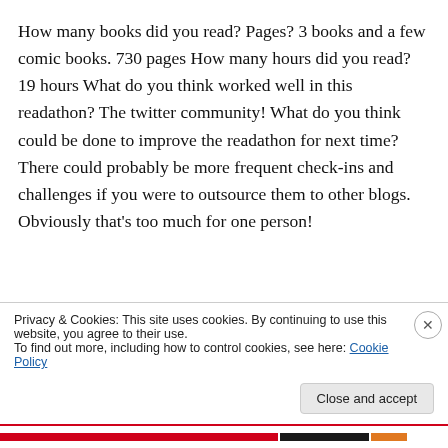How many books did you read? Pages? 3 books and a few comic books. 730 pages How many hours did you read? 19 hours What do you think worked well in this readathon? The twitter community! What do you think could be done to improve the readathon for next time? There could probably be more frequent check-ins and challenges if you were to outsource them to other blogs. Obviously that's too much for one person!
Privacy & Cookies: This site uses cookies. By continuing to use this website, you agree to their use. To find out more, including how to control cookies, see here: Cookie Policy
Close and accept